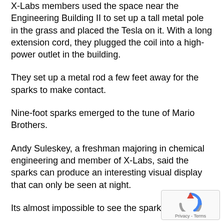X-Labs members used the space near the Engineering Building II to set up a tall metal pole in the grass and placed the Tesla on it. With a long extension cord, they plugged the coil into a high-power outlet in the building.
They set up a metal rod a few feet away for the sparks to make contact.
Nine-foot sparks emerged to the tune of Mario Brothers.
Andy Suleskey, a freshman majoring in chemical engineering and member of X-Labs, said the sparks can produce an interesting visual display that can only be seen at night.
Its almost impossible to see the sparks during the
[Figure (logo): reCAPTCHA logo with Privacy and Terms links]